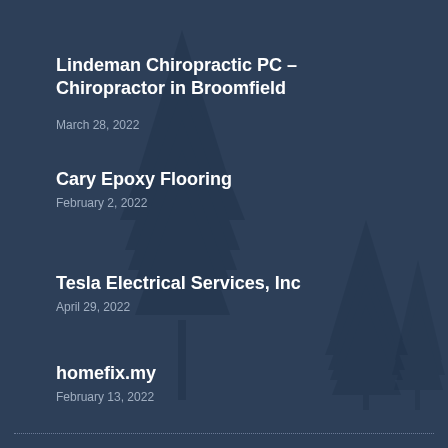Lindeman Chiropractic PC – Chiropractor in Broomfield
March 28, 2022
Cary Epoxy Flooring
February 2, 2022
Tesla Electrical Services, Inc
April 29, 2022
homefix.my
February 13, 2022